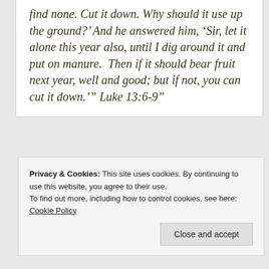find none. Cut it down. Why should it use up the ground?' And he answered him, 'Sir, let it alone this year also, until I dig around it and put on manure.  Then if it should bear fruit next year, well and good; but if not, you can cut it down.'" Luke 13:6-9"
Privacy & Cookies: This site uses cookies. By continuing to use this website, you agree to their use.
To find out more, including how to control cookies, see here: Cookie Policy
Close and accept